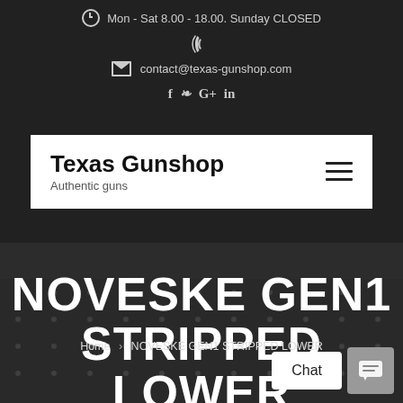Mon - Sat 8.00 - 18.00. Sunday CLOSED
contact@texas-gunshop.com
f ❧ G+ in
Texas Gunshop
Authentic guns
NOVESKE GEN1 STRIPPED LOWER
Home > NOVESKE GEN1 STRIPPED LOWER
Chat